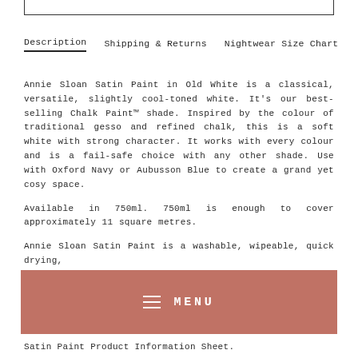Description | Shipping & Returns | Nightwear Size Chart
Annie Sloan Satin Paint in Old White is a classical, versatile, slightly cool-toned white. It's our best-selling Chalk Paint™ shade. Inspired by the colour of traditional gesso and refined chalk, this is a soft white with strong character. It works with every colour and is a fail-safe choice with any other shade. Use with Oxford Navy or Aubusson Blue to create a grand yet cosy space.
Available in 750ml. 750ml is enough to cover approximately 11 square metres.
Annie Sloan Satin Paint is a washable, wipeable, quick drying,
Satin Paint Product Information Sheet.